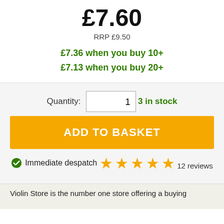£7.60
RRP £9.50
£7.36 when you buy 10+
£7.13 when you buy 20+
Quantity: 1
3 in stock
ADD TO BASKET
Immediate despatch
[Figure (other): Five gold star rating icons]
12 reviews
Violin Store is the number one store offering a buying